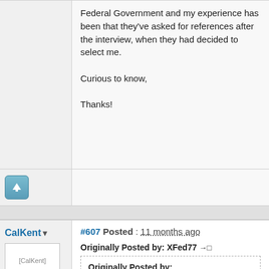Federal Government and my experience has been that they've asked for references after the interview, when they had decided to select me.

Curious to know,

Thanks!
[Figure (other): Upvote button with upward arrow icon]
#607 Posted : 11 months ago
CalKent
[Figure (photo): CalKent avatar image placeholder]
Rank: Member
Originally Posted by: XFed77
Originally Posted by:
CalKent